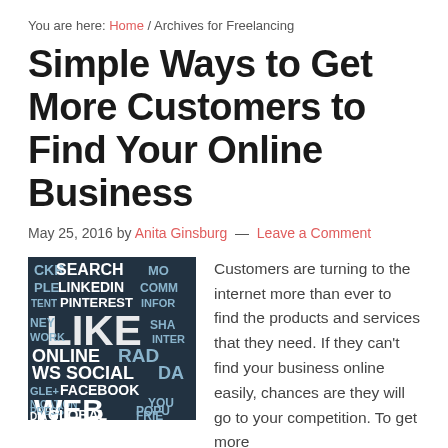You are here: Home / Archives for Freelancing
Simple Ways to Get More Customers to Find Your Online Business
May 25, 2016 by Anita Ginsburg — Leave a Comment
[Figure (photo): Word cloud image with internet/social media terms including SEARCH, LINKEDIN, PINTEREST, LIKE, ONLINE, SOCIAL, FACEBOOK, WEB, GLOBAL, and others on a dark background]
Customers are turning to the internet more than ever to find the products and services that they need. If they can't find your business online easily, chances are they will go to your competition. To get more customers to find you online, consider the following tips: